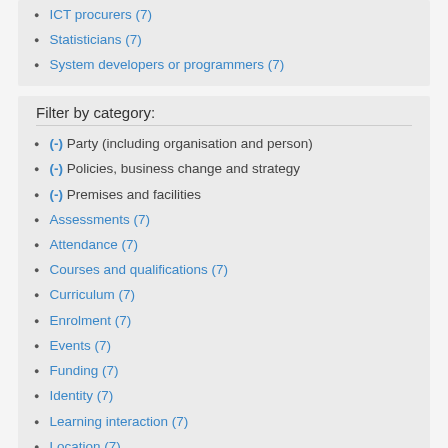ICT procurers (7)
Statisticians (7)
System developers or programmers (7)
Filter by category:
(-) Party (including organisation and person)
(-) Policies, business change and strategy
(-) Premises and facilities
Assessments (7)
Attendance (7)
Courses and qualifications (7)
Curriculum (7)
Enrolment (7)
Events (7)
Funding (7)
Identity (7)
Learning interaction (7)
Location (7)
Resources (including HR and procurement) (7)